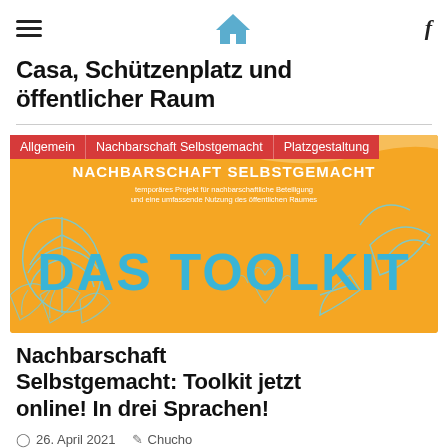Casa, Schützenplatz und öffentlicher Raum
[Figure (illustration): Promotional banner image with orange/yellow wavy background, tropical leaf illustrations in light blue outline, bold blue text 'DAS TOOLKIT', white text 'NACHBARSCHAFT SELBSTGEMACHT' and subtitle 'temporäres Projekt für nachbarschaftliche Beteiligung und eine umfassende Nutzung des öffentlichen Raumes'. Tags overlay: Allgemein | Nachbarschaft Selbstgemacht | Platzgestaltung]
Nachbarschaft Selbstgemacht: Toolkit jetzt online! In drei Sprachen!
26. April 2021  Chucho